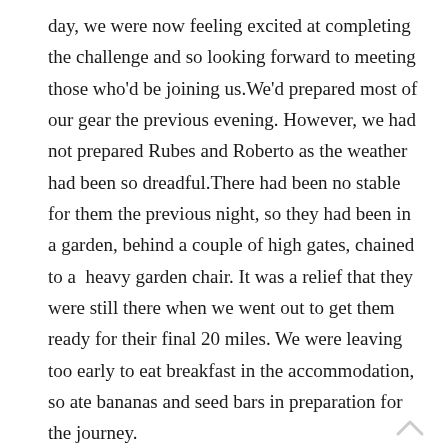day, we were now feeling excited at completing the challenge and so looking forward to meeting those who'd be joining us.We'd prepared most of our gear the previous evening. However, we had not prepared Rubes and Roberto as the weather had been so dreadful.There had been no stable for them the previous night, so they had been in a garden, behind a couple of high gates, chained to a  heavy garden chair. It was a relief that they were still there when we went out to get them ready for their final 20 miles. We were leaving too early to eat breakfast in the accommodation, so ate bananas and seed bars in preparation for the journey.
At 7.10am we had a live telephone interview with BBC Radio Oxford about our story and challenge. We weren't aware that Emma (Director of Policy at CRUK) was also going to be on the line and part of the interview. It was